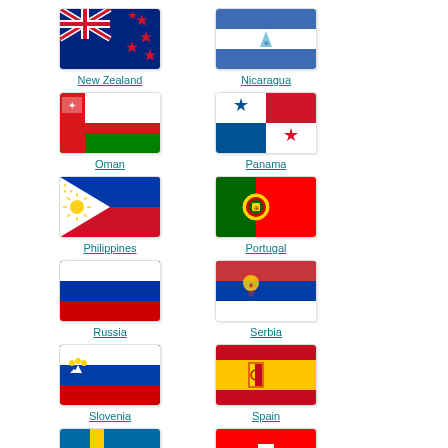[Figure (illustration): New Zealand flag - dark blue with Union Jack and four red stars]
New Zealand
[Figure (illustration): Nicaragua flag - blue white blue horizontal stripes with coat of arms]
Nicaragua
[Figure (illustration): Oman flag - red white green with vertical red stripe]
Oman
[Figure (illustration): Panama flag - white red blue quarters with stars]
Panama
[Figure (illustration): Philippines flag - blue red white triangle with sun and stars]
Philippines
[Figure (illustration): Portugal flag - green red vertical with coat of arms]
Portugal
[Figure (illustration): Russia flag - white blue red horizontal stripes]
Russia
[Figure (illustration): Serbia flag - red blue white horizontal stripes with coat of arms]
Serbia
[Figure (illustration): Slovenia flag - white blue red horizontal stripes with coat of arms]
Slovenia
[Figure (illustration): Spain flag - red yellow red horizontal stripes with coat of arms]
Spain
[Figure (illustration): Sweden flag - blue with yellow cross]
Sweden
[Figure (illustration): Switzerland flag - red with white cross]
Switzerland